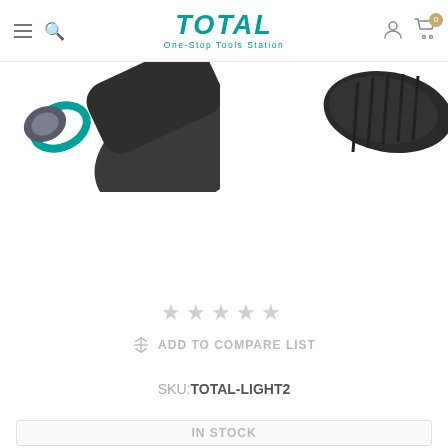[Figure (logo): TOTAL One-Stop Tools Station logo in teal/turquoise color, bold italic font]
[Figure (photo): Product images showing two flashlights/torches with teal accent ring, dark body, partially cropped at top]
[Figure (other): Five empty star rating icons in light gray]
ADD TO COMPARE LIST
SKU: TOTAL-LIGHT2
IN STOCK